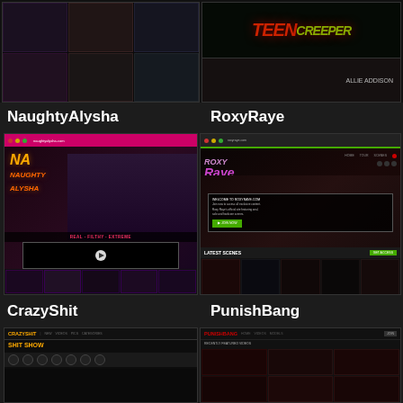[Figure (screenshot): Top row showing two adult website screenshots side by side - left shows a grid of video thumbnails, right shows Teen Creeper site with content]
NaughtyAlysha
RoxyRaye
[Figure (screenshot): NaughtyAlysha adult website screenshot showing site layout with logo, thumbnails and video player]
[Figure (screenshot): RoxyRaye adult website screenshot showing site layout with welcome popup and latest scenes section]
CrazyShit
PunishBang
[Figure (screenshot): CrazyShit website screenshot showing dark themed adult site with category icons]
[Figure (screenshot): PunishBang website screenshot showing dark themed adult site with featured video thumbnails]